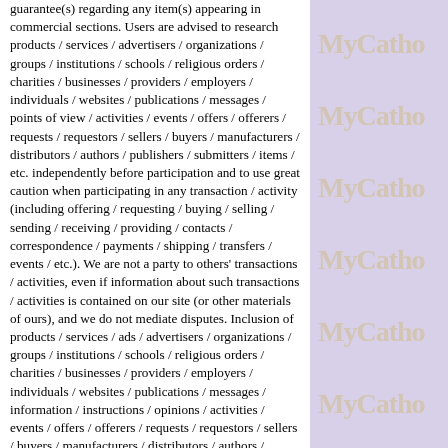guarantee(s) regarding any item(s) appearing in commercial sections. Users are advised to research products / services / advertisers / organizations / groups / institutions / schools / religious orders / charities / businesses / providers / employers / individuals / websites / publications / messages / points of view / activities / events / offers / offerers / requests / requestors / sellers / buyers / manufacturers / distributors / authors / publishers / submitters / items / etc. independently before participation and to use great caution when participating in any transaction / activity (including offering / requesting / buying / selling / sending / receiving / providing / contacts / correspondence / payments / shipping / transfers / events / etc.). We are not a party to others' transactions / activities, even if information about such transactions / activities is contained on our site (or other materials of ours), and we do not mediate disputes. Inclusion of products / services / ads / advertisers / organizations / groups / institutions / schools / religious orders / charities / businesses / providers / employers / individuals / websites / publications / messages / information / instructions / opinions / activities / events / offers / offerers / requests / requestors / sellers / buyers / manufacturers / distributors / authors / publishers / submitters / items / etc. does not imply our endorsement. Participation in any transactions / activities is at your own risk. Users are cautioned that certain products / services / organizations / groups / providers / individuals / advertisers / all the categories